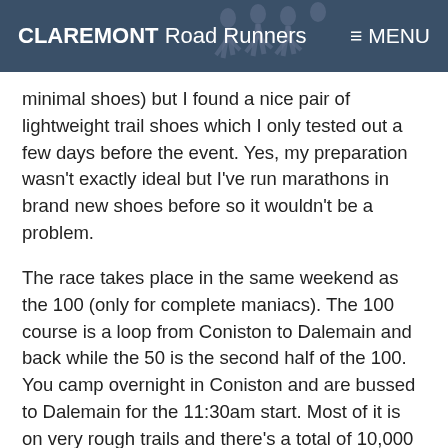CLAREMONT Road Runners   ≡ MENU
minimal shoes) but I found a nice pair of lightweight trail shoes which I only tested out a few days before the event. Yes, my preparation wasn't exactly ideal but I've run marathons in brand new shoes before so it wouldn't be a problem.
The race takes place in the same weekend as the 100 (only for complete maniacs). The 100 course is a loop from Coniston to Dalemain and back while the 50 is the second half of the 100. You camp overnight in Coniston and are bussed to Dalemain for the 11:30am start. Most of it is on very rough trails and there's a total of 10,000 feet of ascent. With a generous time limit of 24 hours (40 for the 100), it's possible to walk the entire route. Obviously for a race that goes on for two